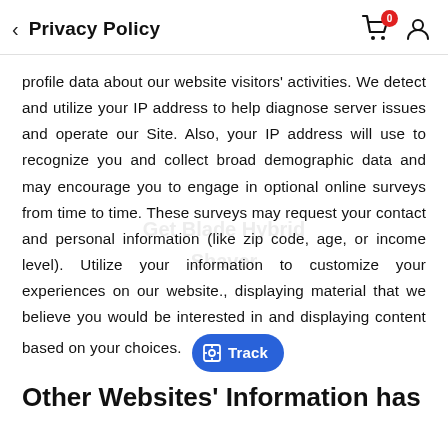Privacy Policy
profile data about our website visitors' activities. We detect and utilize your IP address to help diagnose server issues and operate our Site. Also, your IP address will use to recognize you and collect broad demographic data and may encourage you to engage in optional online surveys from time to time. These surveys may request your contact and personal information (like zip code, age, or income level). Utilize your information to customize your experiences on our website., displaying material that we believe you would be interested in and displaying content based on your choices.
Other Websites' Information has